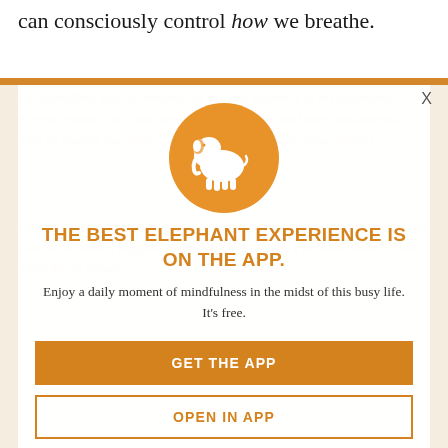can consciously control how we breathe.
[Figure (screenshot): App promotion popup overlay on top of an article page. Contains an orange elephant logo circle, headline 'THE BEST ELEPHANT EXPERIENCE IS ON THE APP.', subtitle text, and two buttons: 'GET THE APP' and 'OPEN IN APP'. Background shows faded orange italic article text about breathing and the autonomic nervous system.]